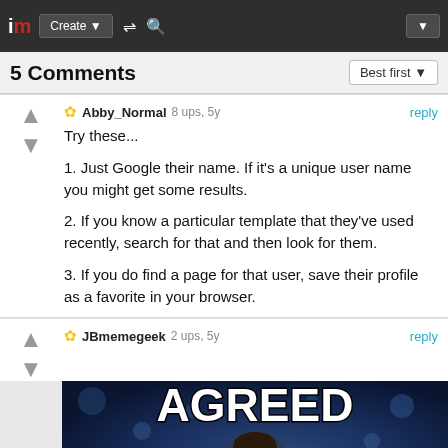im | Create | [shuffle] [search] | [dropdown]
5 Comments  Best first
Abby_Normal  8 ups, 5y  reply
Try these...

1. Just Google their name. If it's a unique user name you might get some results.

2. If you know a particular template that they've used recently, search for that and then look for them.

3. If you do find a page for that user, save their profile as a favorite in your browser.
JBmemegeek  2 ups, 5y  reply
[Figure (photo): Meme image with text 'AGREED' at top and a man in a suit (Leonardo DiCaprio Gatsby meme) against a dark bokeh background]